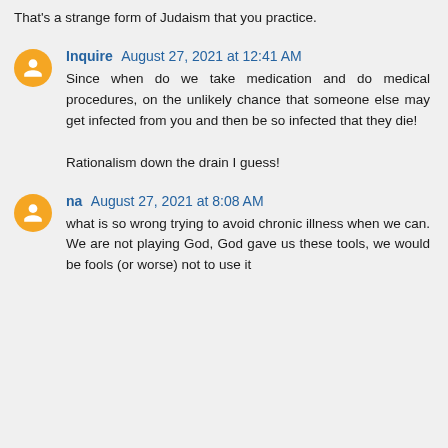That's a strange form of Judaism that you practice.
Inquire August 27, 2021 at 12:41 AM
Since when do we take medication and do medical procedures, on the unlikely chance that someone else may get infected from you and then be so infected that they die!

Rationalism down the drain I guess!
na August 27, 2021 at 8:08 AM
what is so wrong trying to avoid chronic illness when we can. We are not playing God, God gave us these tools, we would be fools (or worse) not to use it